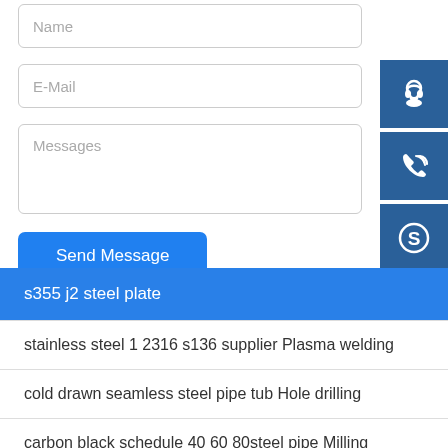Name
E-Mail
Messages
Send Message
[Figure (illustration): Blue support/headset icon button]
[Figure (illustration): Blue phone/call icon button]
[Figure (illustration): Blue Skype icon button]
s355 j2 steel plate
stainless steel 1 2316 s136 supplier Plasma welding
cold drawn seamless steel pipe tub Hole drilling
carbon black schedule 40 60 80steel pipe Milling
mail cold rolled steel coil n195 n235 Decoiling